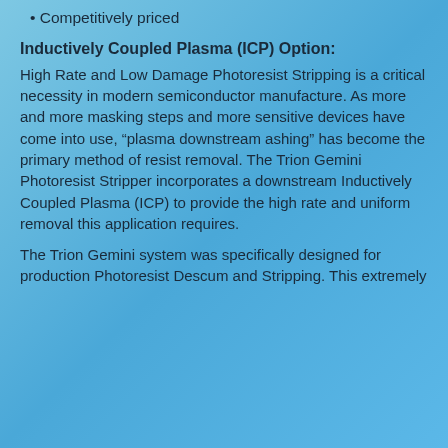Competitively priced
Inductively Coupled Plasma (ICP) Option:
High Rate and Low Damage Photoresist Stripping is a critical necessity in modern semiconductor manufacture. As more and more masking steps and more sensitive devices have come into use, “plasma downstream ashing” has become the primary method of resist removal. The Trion Gemini Photoresist Stripper incorporates a downstream Inductively Coupled Plasma (ICP) to provide the high rate and uniform removal this application requires.
The Trion Gemini system was specifically designed for production Photoresist Descum and Stripping. This extremely